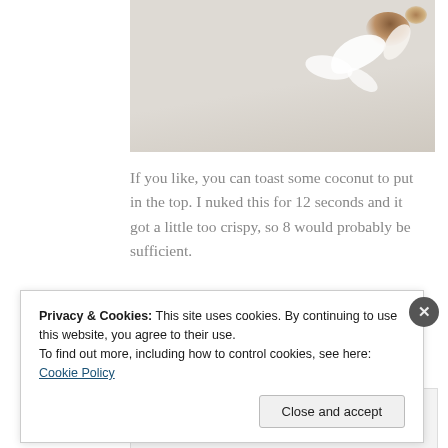[Figure (photo): Close-up photo of white flower petals with brown spots/burns on a light background, partially cropped at top of page.]
If you like, you can toast some coconut to put in the top. I nuked this for 12 seconds and it got a little too crispy, so 8 would probably be sufficient.
[Figure (infographic): Advertisement banner for P2: Getting your team on the same page is easy. And free.]
REPORT THIS AD
Privacy & Cookies: This site uses cookies. By continuing to use this website, you agree to their use.
To find out more, including how to control cookies, see here: Cookie Policy
Close and accept